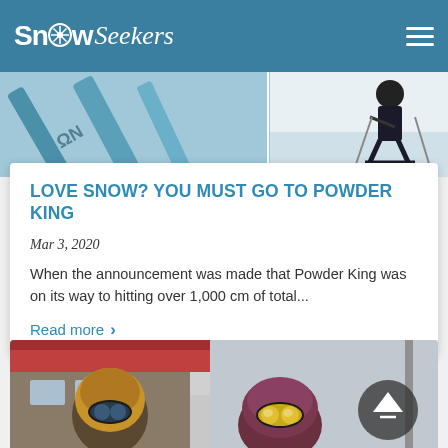SnowSeekers
[Figure (photo): Ski/snowboard outdoor winter action photo strip showing snowboards and a skier against snow background]
LOVE SNOW? YOU MUST GO TO POWDER KING
Mar 3, 2020
When the announcement was made that Powder King was on its way to hitting over 1,000 cm of total...
Read more ›
[Figure (photo): Two skiers wearing helmets and goggles at a ski resort, with lodge building visible in background]